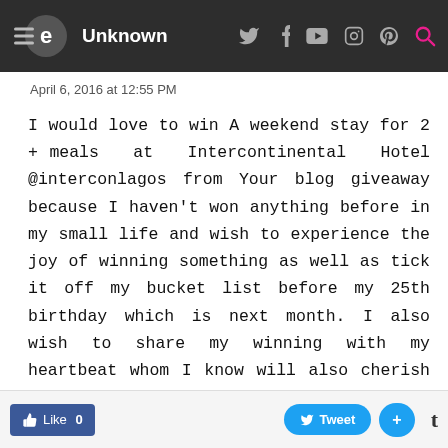Unknown
April 6, 2016 at 12:55 PM
I would love to win A weekend stay for 2 + meals at Intercontinental Hotel @interconlagos from Your blog giveaway because I haven't won anything before in my small life and wish to experience the joy of winning something as well as tick it off my bucket list before my 25th birthday which is next month. I also wish to share my winning with my heartbeat whom I know will also cherish the opportunity as much as I would. I watch all your YouTube videos, follow you everywhere and try to read your blog posts even if I am not mu...